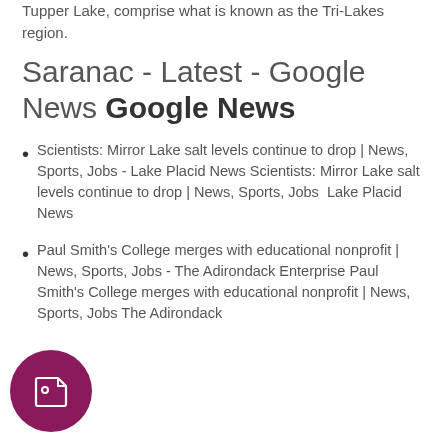Tupper Lake, comprise what is known as the Tri-Lakes region.
Saranac - Latest - Google News Google News
Scientists: Mirror Lake salt levels continue to drop | News, Sports, Jobs - Lake Placid News Scientists: Mirror Lake salt levels continue to drop | News, Sports, Jobs  Lake Placid News
Paul Smith's College merges with educational nonprofit | News, Sports, Jobs - The Adirondack Enterprise Paul Smith's College merges with educational nonprofit | News, Sports, Jobs  The Adirondack